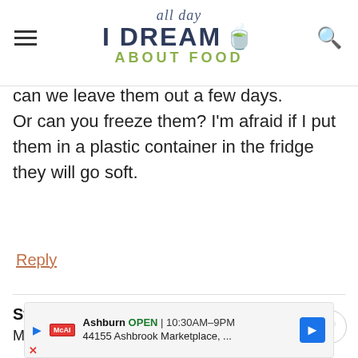all day I DREAM ABOUT FOOD
can we leave them out a few days. Or can you freeze them? I'm afraid if I put them in a plastic container in the fridge they will go soft.
Reply
Stacey says
May 28, 2020 at 7:11 pm
Ashburn OPEN 10:30AM–9PM 44155 Ashbrook Marketplace, ...